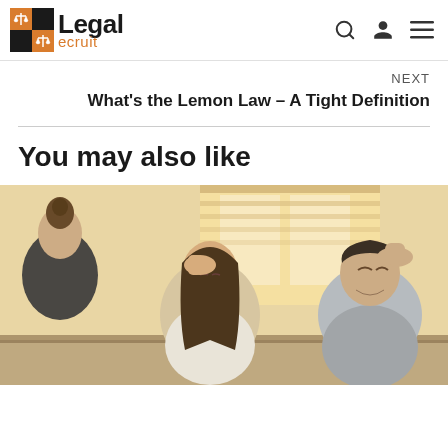Legal Recruit
NEXT
What's the Lemon Law – A Tight Definition
You may also like
[Figure (photo): A stressed couple meeting with a female lawyer or counselor at a table. The woman has her hand on her forehead and the man is holding his head in distress.]